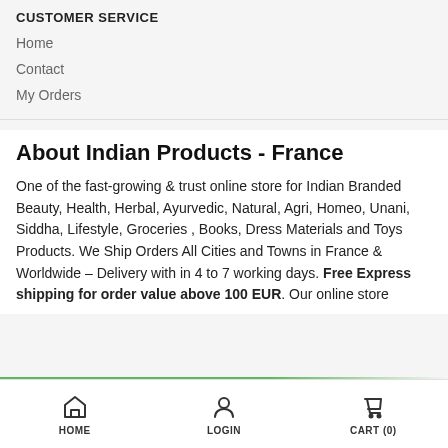CUSTOMER SERVICE
Home
Contact
My Orders
About Indian Products - France
One of the fast-growing & trust online store for Indian Branded Beauty, Health, Herbal, Ayurvedic, Natural, Agri, Homeo, Unani, Siddha, Lifestyle, Groceries , Books, Dress Materials and Toys Products. We Ship Orders All Cities and Towns in France & Worldwide – Delivery with in 4 to 7 working days. Free Express shipping for order value above 100 EUR. Our online store
HOME   LOGIN   CART (0)